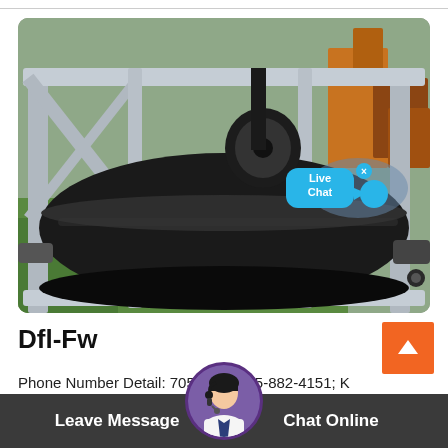[Figure (photo): Photograph of a large black industrial conveyor belt roller/drum mounted on a grey metal frame structure, photographed outdoors. Other machinery visible in the background. A blue 'Live Chat' speech bubble UI overlay is visible in the lower-right of the image.]
Dfl-Fw
Phone Number Detail: 705-...-...1 / 705-882-4151; K
Pit... Ore... Rd, B...ana Bay...
7058820736 / 705-882-0736 ...a Renta... Cha...
Leave Message   Chat Online